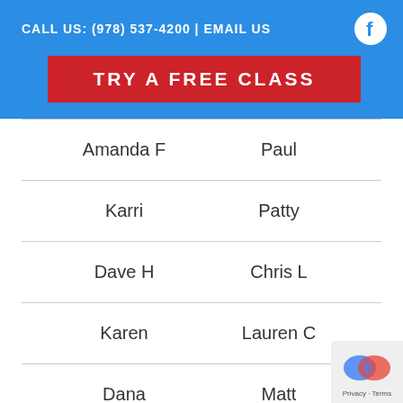CALL US: (978) 537-4200 | EMAIL US
TRY A FREE CLASS
Amanda F | Paul
Karri | Patty
Dave H | Chris L
Karen | Lauren C
Dana | Matt
Lisa | Dennis